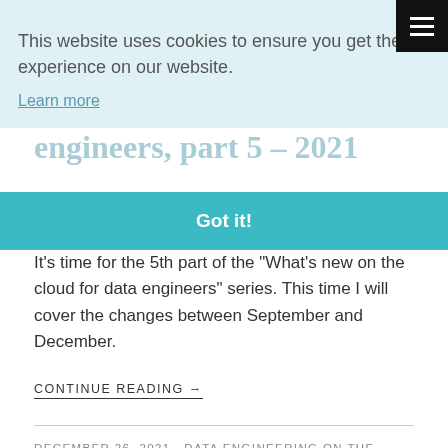This website uses cookies to ensure you get the best experience on our website.
Learn more
Got it!
It’s time for the 5th part of the "What's new on the cloud for data engineers" series. This time I will cover the changes between September and December.
CONTINUE READING →
DECEMBER 26, 2021 · DATA ENGINEERING ON THE CLOUD
Schema management in cloud